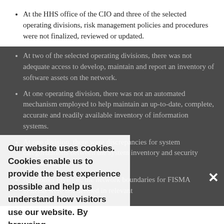At the HHS office of the CIO and three of the selected operating divisions, risk management policies and procedures were not finalized, reviewed or updated.
At two of the selected operating divisions, there was not adequate access to develop, maintain and report an inventory of software assets on the network.
At one operating division, there was not an automated mechanism employed to help maintain an up-to-date, complete, accurate and readily available inventory of information systems.
At one division, there were discrepancies for system categorizations between the system inventory and security documentation.
At another division, the network boundaries for FISMA systems were not defined in relevant
Our website uses cookies. Cookies enable us to provide the best experience possible and help us understand how visitors use our website. By browsing inforisktoday.com, you agree to our use of cookies.